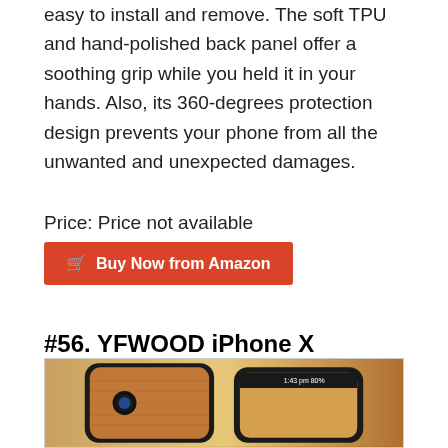easy to install and remove. The soft TPU and hand-polished back panel offer a soothing grip while you held it in your hands. Also, its 360-degrees protection design prevents your phone from all the unwanted and unexpected damages.
Price: Price not available
Buy Now from Amazon
#56. YFWOOD iPhone X Wooden Case
[Figure (photo): Photo of YFWOOD iPhone X Wooden Case showing two phones with a wooden back panel and black TPU bumper frame]